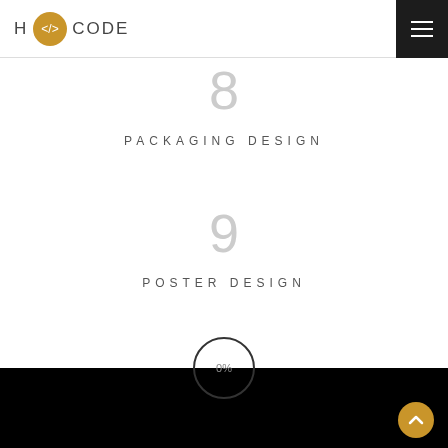[Figure (logo): H CODE logo with golden circle icon containing code brackets]
[Figure (other): Hamburger menu icon in dark square top right]
8
PACKAGING DESIGN
9
POSTER DESIGN
[Figure (other): Black footer section with circular progress indicator showing 0% and a golden arrow-up button]